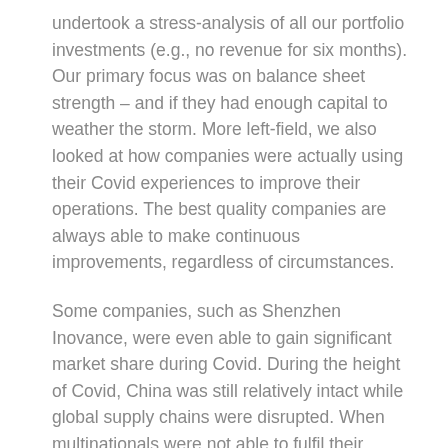undertook a stress-analysis of all our portfolio investments (e.g., no revenue for six months). Our primary focus was on balance sheet strength – and if they had enough capital to weather the storm. More left-field, we also looked at how companies were actually using their Covid experiences to improve their operations. The best quality companies are always able to make continuous improvements, regardless of circumstances.
Some companies, such as Shenzhen Inovance, were even able to gain significant market share during Covid. During the height of Covid, China was still relatively intact while global supply chains were disrupted. When multinationals were not able to fulfil their customers' needs as everyone was working from home, Inovance came in and swept up market share.